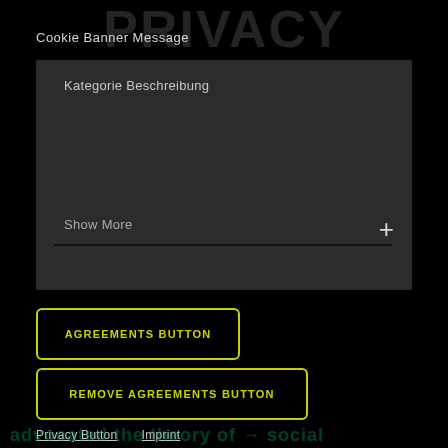Cookie Banner Message
Kategorie Beschreibung
Show More
AGREEMENTS BUTTON
REMOVE AGREEMENTS BUTTON
Privacy Button   Imprint
advocated the theory of → social